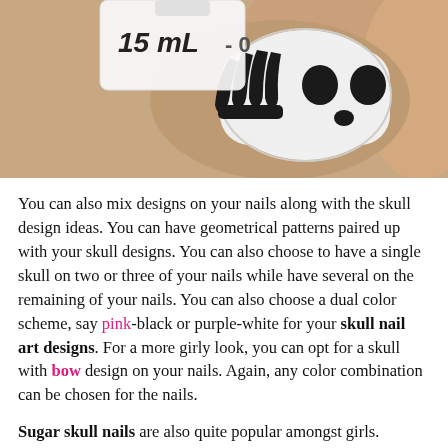[Figure (photo): Close-up photo of a fingernail painted white with a black skull design (skeleton hand/claws on left, two black oval eyes/dots on right), partially showing a white nail polish bottle labeled '15 mL' in the background.]
You can also mix designs on your nails along with the skull design ideas. You can have geometrical patterns paired up with your skull designs. You can also choose to have a single skull on two or three of your nails while have several on the remaining of your nails. You can also choose a dual color scheme, say pink-black or purple-white for your skull nail art designs. For a more girly look, you can opt for a skull with bow design on your nails. Again, any color combination can be chosen for the nails.
Sugar skull nails are also quite popular amongst girls. Generally, sugar skulls are symbolic for the loved ones who